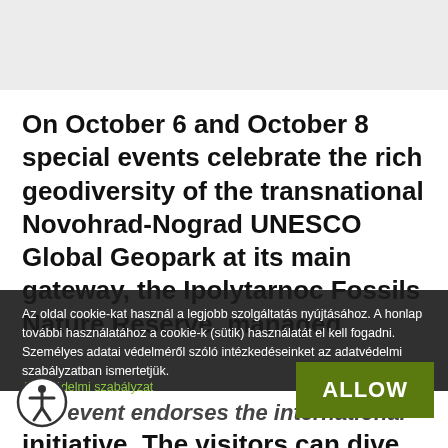On October 6 and October 8 special events celebrate the rich geodiversity of the transnational Novohrad-Nograd UNESCO Global Geopark at its main gateway, the Ipolytarnoc Fossils Nature Reserve, managed
Az oldal cookie-kat használ a legjobb szolgáltatás nyújtásához. A honlap további használatához a cookie-k (sütik) használatát el kell fogadni. Személyes adatai védelméről szóló intézkedéseinket az adatvédelmi szabályzatban ismertetjük.
Adatvédelmi szabályzat
The event endorses the International ... initiative. The visitors can dive into the sea from the Pannonian lake through a volcanic disaster to the Paratethys shal... of with giant sharks at the Geosite... Ipolytarnoc Fossils